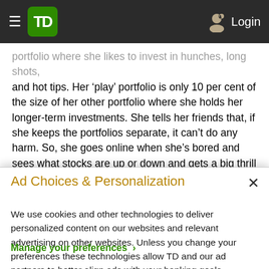TD Bank — Navigation bar with hamburger menu, TD logo, and Login button
portfolio where she likes to invest in hunches, long shots, and hot tips. Her ‘play’ portfolio is only 10 per cent of the size of her other portfolio where she holds her longer-term investments. She tells her friends that, if she keeps the portfolios separate, it can’t do any harm. So, she goes online when she’s bored and sees what stocks are up or down and gets a big thrill when her ‘hot’ stock surges. Two
Ad Choices & Personalization
We use cookies and other technologies to deliver personalized content on our websites and relevant advertising on other websites. Unless you change your preferences these technologies allow TD and our ad partners to better align ads with your banking goals.
Manage your preferences ›